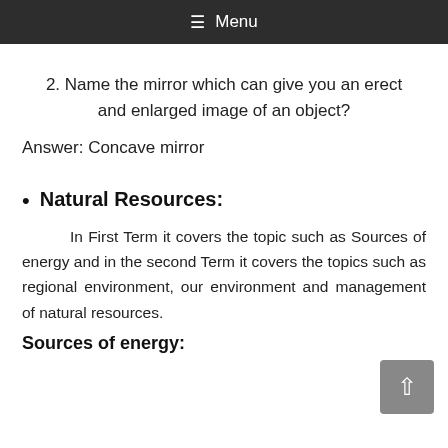≡ Menu
2. Name the mirror which can give you an erect and enlarged image of an object?
Answer: Concave mirror
Natural Resources:
In First Term it covers the topic such as Sources of energy and in the second Term it covers the topics such as regional environment, our environment and management of natural resources.
Sources of energy: